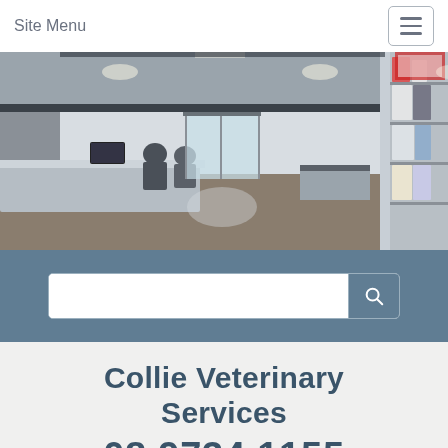Site Menu
[Figure (photo): Interior panoramic photo of a veterinary clinic reception area showing reception desk with staff, glass entrance doors, waiting area seating, and shelving with pet food products on the right side.]
Collie Veterinary Services
08 9734 1155